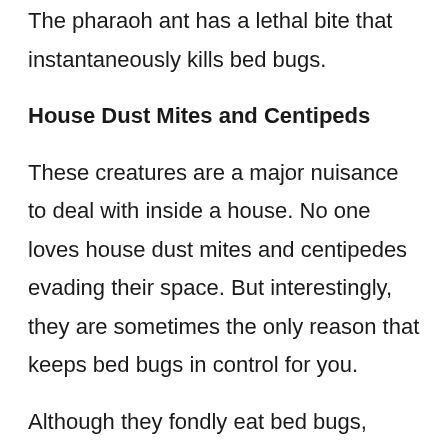The pharaoh ant has a lethal bite that instantaneously kills bed bugs.
House Dust Mites and Centipeds
These creatures are a major nuisance to deal with inside a house. No one loves house dust mites and centipedes evading their space. But interestingly, they are sometimes the only reason that keeps bed bugs in control for you.
Although they fondly eat bed bugs, house dust mites should not be your priority at